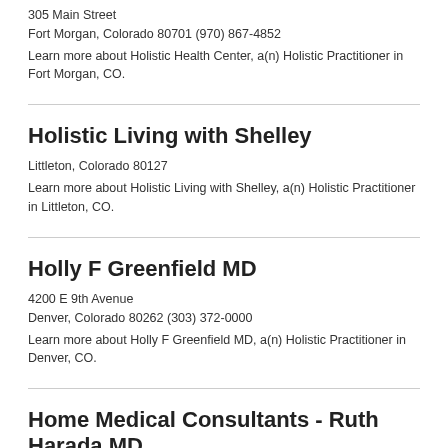305 Main Street
Fort Morgan, Colorado 80701 (970) 867-4852
Learn more about Holistic Health Center, a(n) Holistic Practitioner in Fort Morgan, CO.
Holistic Living with Shelley
Littleton, Colorado 80127
Learn more about Holistic Living with Shelley, a(n) Holistic Practitioner in Littleton, CO.
Holly F Greenfield MD
4200 E 9th Avenue
Denver, Colorado 80262 (303) 372-0000
Learn more about Holly F Greenfield MD, a(n) Holistic Practitioner in Denver, CO.
Home Medical Consultants - Ruth Harada MD
1601 E 19th Avenue # 4450